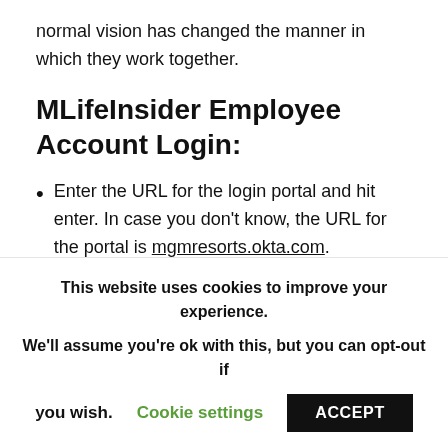normal vision has changed the manner in which they work together.
MLifeInsider Employee Account Login:
Enter the URL for the login portal and hit enter. In case you don't know, the URL for the portal is mgmresorts.okta.com.
Add your Employee ID and password to the space
This website uses cookies to improve your experience. We'll assume you're ok with this, but you can opt-out if you wish. Cookie settings ACCEPT